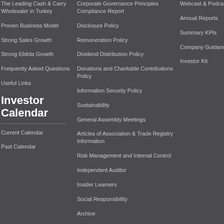The Leading Cash & Carry Wholesaler in Turkey
Proven Business Model
Strong Sales Growth
Strong Ebitda Growth
Frequently Asked Questions
Useful Links
Investor Calendar
Current Calendar
Past Calendar
Corporate Governance Principles Compliance Report
Disclosure Policy
Remuneration Policy
Dividend Distribution Policy
Donations and Charitable Contributions Policy
Information Security Policy
Sustainability
General Assembly Meetings
Articles of Association & Trade Registry Information
Risk Management and Internal Control
Independent Auditor
Insider Learners
Social Responsibility
Archive
Webcast & Podcast
Annual Reports
Summary KPIs
Company Guidance
Investor Kit